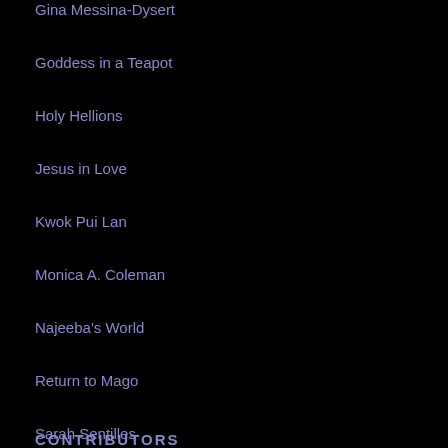Gina Messina-Dysert
Goddess in a Teapot
Holy Hellions
Jesus in Love
Kwok Pui Lan
Monica A. Coleman
Najeeba's World
Return to Mago
Sarah Sentilles
The Exponent
The Femonite
Women's Alliance for Theology, Ethics, and Ritual (WATER)
CONTRIBUTORS